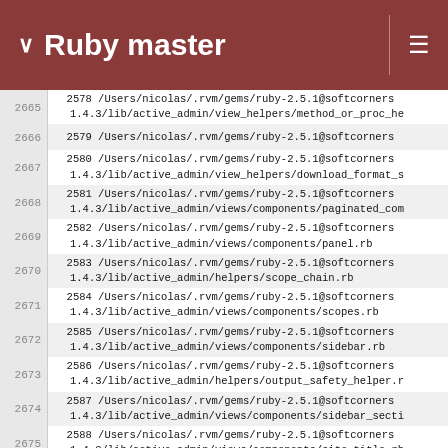Ruby master
2665  2578 /Users/nicolas/.rvm/gems/ruby-2.5.1@softcorner...
       1.4.3/lib/active_admin/view_helpers/method_or_proc_he...
2666  2579 /Users/nicolas/.rvm/gems/ruby-2.5.1@softcorner...
2667  2580 /Users/nicolas/.rvm/gems/ruby-2.5.1@softcorner...
       1.4.3/lib/active_admin/view_helpers/download_format_...
2668  2581 /Users/nicolas/.rvm/gems/ruby-2.5.1@softcorner...
       1.4.3/lib/active_admin/views/components/paginated_co...
2669  2582 /Users/nicolas/.rvm/gems/ruby-2.5.1@softcorner...
       1.4.3/lib/active_admin/views/components/panel.rb
2670  2583 /Users/nicolas/.rvm/gems/ruby-2.5.1@softcorner...
       1.4.3/lib/active_admin/helpers/scope_chain.rb
2671  2584 /Users/nicolas/.rvm/gems/ruby-2.5.1@softcorner...
       1.4.3/lib/active_admin/views/components/scopes.rb
2672  2585 /Users/nicolas/.rvm/gems/ruby-2.5.1@softcorner...
       1.4.3/lib/active_admin/views/components/sidebar.rb
2673  2586 /Users/nicolas/.rvm/gems/ruby-2.5.1@softcorner...
       1.4.3/lib/active_admin/helpers/output_safety_helper....
2674  2587 /Users/nicolas/.rvm/gems/ruby-2.5.1@softcorner...
       1.4.3/lib/active_admin/views/components/sidebar_sect...
2675  2588 /Users/nicolas/.rvm/gems/ruby-2.5.1@softcorner...
       1.4.3/lib/active_admin/views/components/site_title.r...
2676  2589 /Users/nicolas/.rvm/gems/ruby-2.5.1@softcorner...
       1.4.3/lib/active_admin/views/components/status_tag.r...
2677  2590 /Users/nicolas/.rvm/gems/ruby-2.5.1@softcorner...
       1.4.3/lib/active_admin/views/components/table_for.rb
2678  2591 /Users/nicolas/.rvm/gems/ruby-2.5.1@softcorner...
       1.4.3/lib/active_admin/views/components/tabs.rb
2592 /Users/nicolas/.rvm/gems/ruby-2.5.1@softcorner...